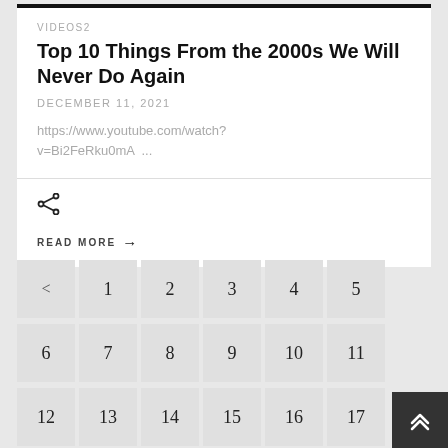VIDEOS2
Top 10 Things From the 2000s We Will Never Do Again
DECEMBER 11, 2021
https://www.youtube.com/watch?v=Bi2FeRku0mA ...
READ MORE →
< 1 2 3 4 5 6 7 8 9 10 11 12 13 14 15 16 17 18 19 20 21 22 23